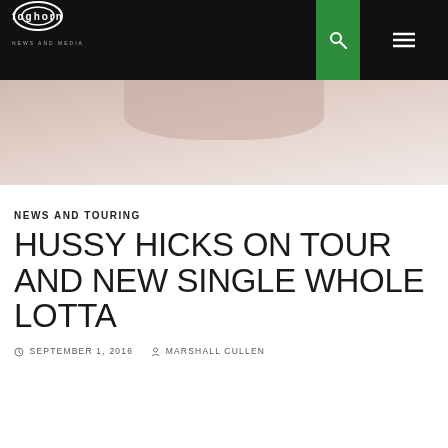Foghorn News and Media
[Figure (photo): Partial cropped image of a person, flesh tones visible at top, pinkish-beige background]
NEWS AND TOURING
HUSSY HICKS ON TOUR AND NEW SINGLE WHOLE LOTTA
SEPTEMBER 1, 2016   MARSHALL CULLEN